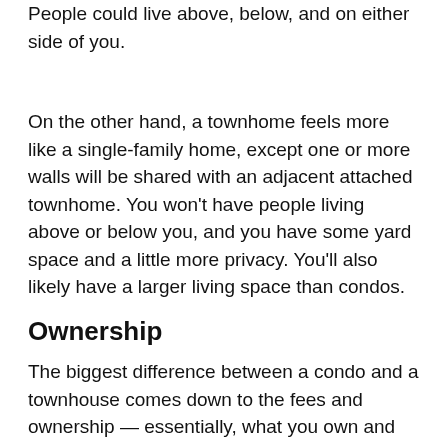People could live above, below, and on either side of you.
On the other hand, a townhome feels more like a single-family home, except one or more walls will be shared with an adjacent attached townhome. You won't have people living above or below you, and you have some yard space and a little more privacy. You'll also likely have a larger living space than condos.
Ownership
The biggest difference between a condo and a townhouse comes down to the fees and ownership — essentially, what you own and how much you pay for it. This distinction